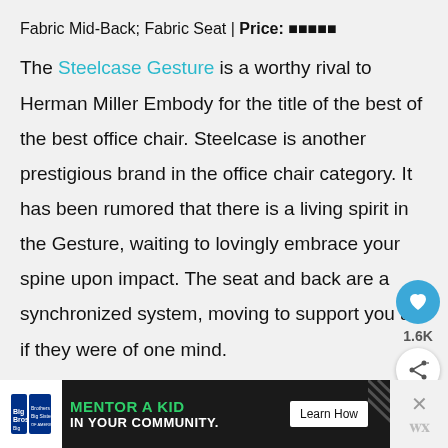Fabric Mid-Back; Fabric Seat | Price: ■■■■■
The Steelcase Gesture is a worthy rival to Herman Miller Embody for the title of the best of the best office chair. Steelcase is another prestigious brand in the office chair category. It has been rumored that there is a living spirit in the Gesture, waiting to lovingly embrace your spine upon impact. The seat and back are a synchronized system, moving to support you as if they were of one mind.
[Figure (other): Big Brothers Big Sisters advertisement banner: MENTOR A KID IN YOUR COMMUNITY. Learn How button.]